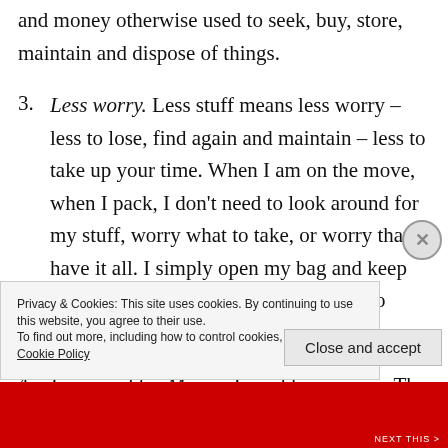and money otherwise used to seek, buy, store, maintain and dispose of things.
3. Less worry. Less stuff means less worry – less to lose, find again and maintain – less to take up your time. When I am on the move, when I pack, I don't need to look around for my stuff, worry what to take, or worry that I have it all. I simply open my bag and keep putting stuff in it until I have counted to forty.
4. Less need for Money. I need less money. The whole concept of money becomes less important. Other
Privacy & Cookies: This site uses cookies. By continuing to use this website, you agree to their use. To find out more, including how to control cookies, see here: Cookie Policy
Close and accept